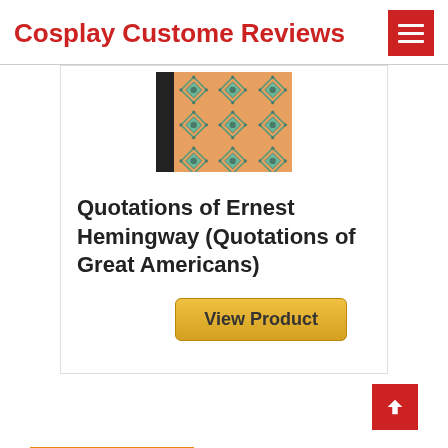Cosplay Custome Reviews
[Figure (photo): Book cover for Quotations of Ernest Hemingway showing a tiled pattern with orange background and decorative blue/green shield motifs, with a black spine on the left.]
Quotations of Ernest Hemingway (Quotations of Great Americans)
View Product
BESTSELLER NO. 4